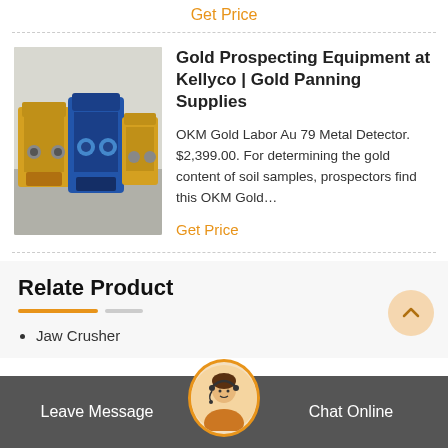Get Price
[Figure (photo): Industrial machinery/crushers in warehouse setting - yellow and blue equipment]
Gold Prospecting Equipment at Kellyco | Gold Panning Supplies
OKM Gold Labor Au 79 Metal Detector. $2,399.00. For determining the gold content of soil samples, prospectors find this OKM Gold…
Get Price
Relate Product
Jaw Crusher
Leave Message
Chat Online